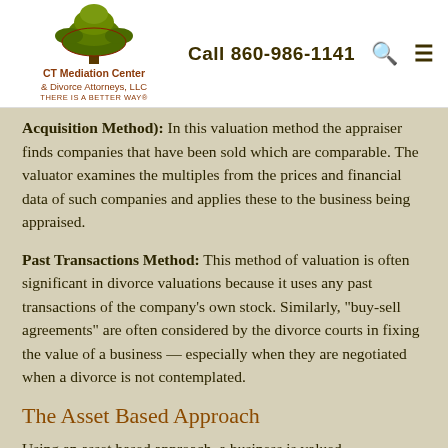CT Mediation Center & Divorce Attorneys, LLC | Call 860-986-1141
Acquisition Method): In this valuation method the appraiser finds companies that have been sold which are comparable. The valuator examines the multiples from the prices and financial data of such companies and applies these to the business being appraised.
Past Transactions Method: This method of valuation is often significant in divorce valuations because it uses any past transactions of the company's own stock. Similarly, "buy-sell agreements" are often considered by the divorce courts in fixing the value of a business — especially when they are negotiated when a divorce is not contemplated.
The Asset Based Approach
Using an asset based approach, a business is valued